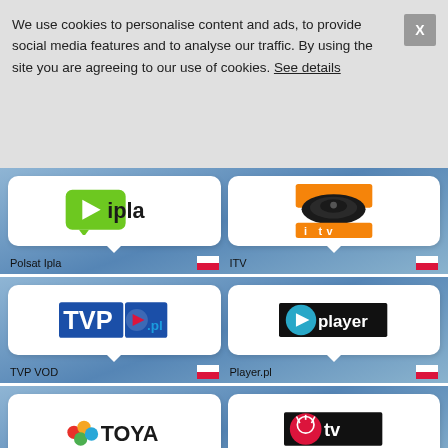We use cookies to personalise content and ads, to provide social media features and to analyse our traffic. By using the site you are agreeing to our use of cookies. See details
[Figure (logo): Polsat Ipla logo - green play button chat bubble with 'ipla' text]
Polsat Ipla
[Figure (logo): ITV logo - orange rectangle with satellite dish icon and 'i tv' text]
ITV
[Figure (logo): TVP.pl logo - blue rectangle with TVP text and orange play arrow with .pl]
TVP VOD
[Figure (logo): Player.pl logo - black bar with teal play button circle and 'player' text]
Player.pl
[Figure (logo): TOYA logo - colorful circles with TOYA text]
[Figure (logo): WP.tv logo - red circle with tv text]